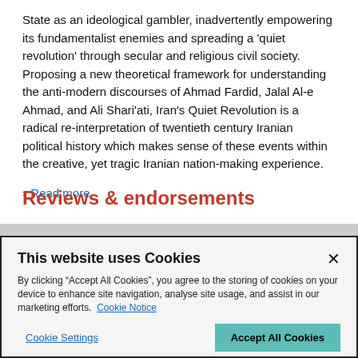State as an ideological gambler, inadvertently empowering its fundamentalist enemies and spreading a 'quiet revolution' through secular and religious civil society. Proposing a new theoretical framework for understanding the anti-modern discourses of Ahmad Fardid, Jalal Al-e Ahmad, and Ali Shari'ati, Iran's Quiet Revolution is a radical re-interpretation of twentieth century Iranian political history which makes sense of these events within the creative, yet tragic Iranian nation-making experience.
Read more
Reviews & endorsements
This website uses Cookies
By clicking "Accept All Cookies", you agree to the storing of cookies on your device to enhance site navigation, analyse site usage, and assist in our marketing efforts. Cookie Notice
Cookie Settings
Accept All Cookies